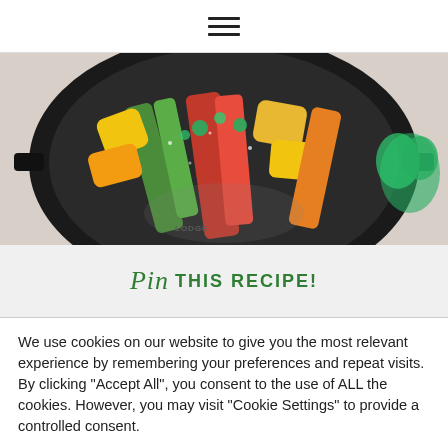☰ (hamburger menu icon)
[Figure (photo): Overhead photo of a cast iron skillet (Lodge brand) filled with colorful grilled vegetables including zucchini, red bell pepper, pineapple, and yellow pepper, garnished with fresh herbs. Fresh parsley visible on the side.]
Pin THIS RECIPE!
We use cookies on our website to give you the most relevant experience by remembering your preferences and repeat visits. By clicking "Accept All", you consent to the use of ALL the cookies. However, you may visit "Cookie Settings" to provide a controlled consent.
Cookie Settings   Accept All